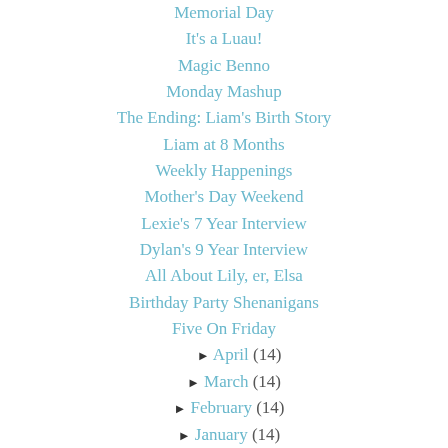Memorial Day
It's a Luau!
Magic Benno
Monday Mashup
The Ending: Liam's Birth Story
Liam at 8 Months
Weekly Happenings
Mother's Day Weekend
Lexie's 7 Year Interview
Dylan's 9 Year Interview
All About Lily, er, Elsa
Birthday Party Shenanigans
Five On Friday
► April (14)
► March (14)
► February (14)
► January (14)
► 2013 (199)
► 2012 (230)
► 2011 (235)
► 2010 (278)
► 2009 (271)